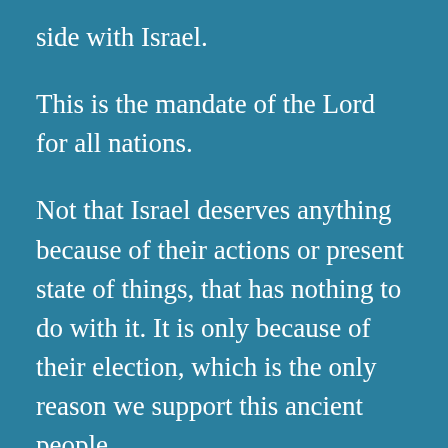side with Israel.
This is the mandate of the Lord for all nations.
Not that Israel deserves anything because of their actions or present state of things, that has nothing to do with it. It is only because of their election, which is the only reason we support this ancient people.